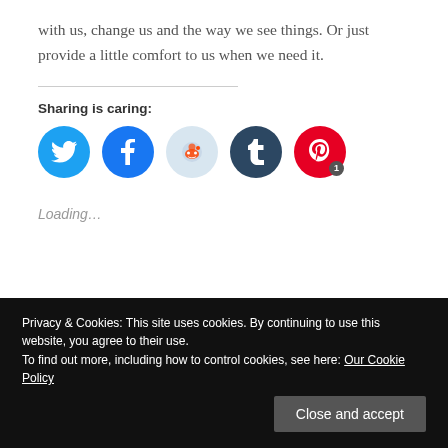with us, change us and the way we see things. Or just provide a little comfort to us when we need it.
Sharing is caring:
[Figure (infographic): Five social sharing icon circles: Twitter (blue), Facebook (blue), Reddit (light blue), Tumblr (dark blue), Pinterest (red) with a badge showing '1']
Loading…
Privacy & Cookies: This site uses cookies. By continuing to use this website, you agree to their use. To find out more, including how to control cookies, see here: Our Cookie Policy
Close and accept